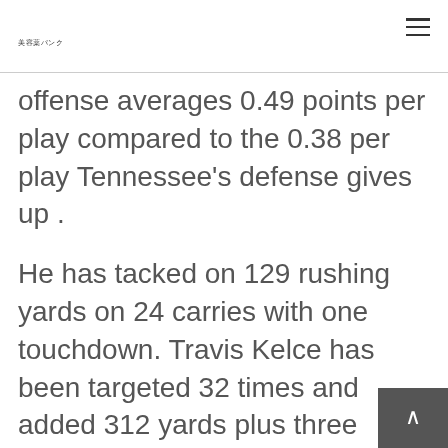美容薬パンク
offense averages 0.49 points per play compared to the 0.38 per play Tennessee's defense gives up .
He has tacked on 129 rushing yards on 24 carries with one touchdown. Travis Kelce has been targeted 32 times and added 312 yards plus three touchdowns. Kansas City and its opponents have combined to hit the over three out of four times this season. The Chiefs allow 0.49 points per play , while the Bills pick up 0.46 per pl…